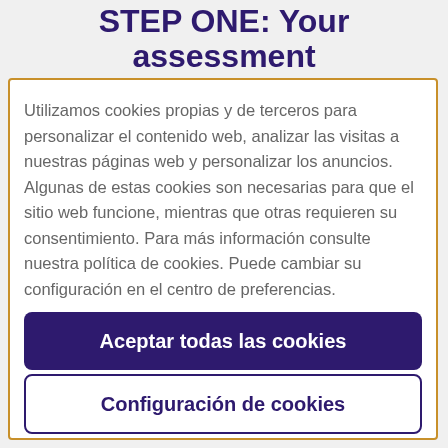STEP ONE: Your assessment
Utilizamos cookies propias y de terceros para personalizar el contenido web, analizar las visitas a nuestras páginas web y personalizar los anuncios. Algunas de estas cookies son necesarias para que el sitio web funcione, mientras que otras requieren su consentimiento. Para más información consulte nuestra política de cookies. Puede cambiar su configuración en el centro de preferencias.
Aceptar todas las cookies
Configuración de cookies